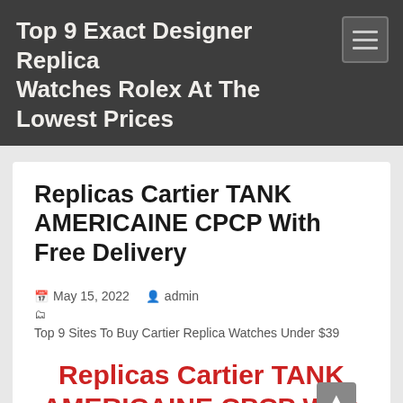Top 9 Exact Designer Replica Watches Rolex At The Lowest Prices
Replicas Cartier TANK AMERICAINE CPCP With Free Delivery
May 15, 2022  admin  Top 9 Sites To Buy Cartier Replica Watches Under $39
Replicas Cartier TANK AMERICAINE CPCP With